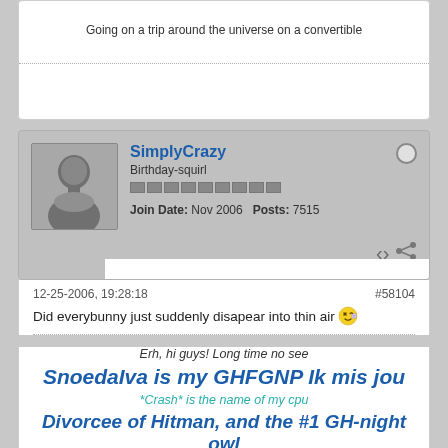Going on a trip around the universe on a convertible
SimplyCrazy
Birthday-squirl
Join Date: Nov 2006  Posts: 7515
12-25-2006, 19:28:18
#58104
Did everybunny just suddenly disapear into thin air 😉
Erh, hi guys! Long time no see
SnoedaIva is my GHFGNP Ik mis jou
*Crash* is the name of my cpu
Divorcee of Hitman, and the #1 GH-night owl